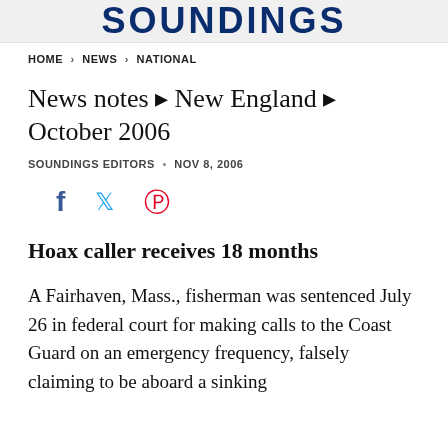SOUNDINGS
HOME > NEWS > NATIONAL
News notes ▸ New England ▸ October 2006
SOUNDINGS EDITORS • NOV 8, 2006
[Figure (other): Social sharing icons: Facebook (f), Twitter (bird), Pinterest (P)]
Hoax caller receives 18 months
A Fairhaven, Mass., fisherman was sentenced July 26 in federal court for making calls to the Coast Guard on an emergency frequency, falsely claiming to be aboard a sinking